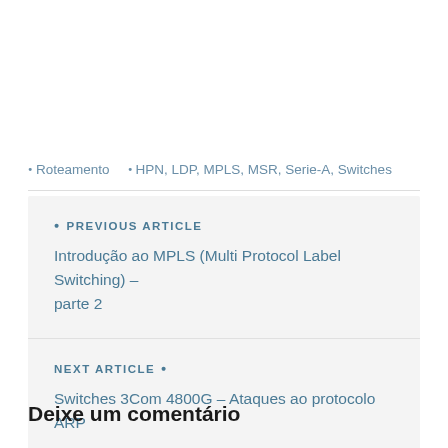❯ Roteamento   ❯ HPN, LDP, MPLS, MSR, Serie-A, Switches
❯ PREVIOUS ARTICLE
Introdução ao MPLS (Multi Protocol Label Switching) – parte 2
NEXT ARTICLE ❯
Switches 3Com 4800G – Ataques ao protocolo ARP
Deixe um comentário